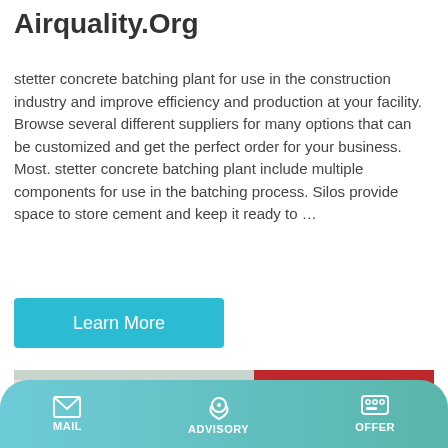Airquality.Org
stetter concrete batching plant for use in the construction industry and improve efficiency and production at your facility. Browse several different suppliers for many options that can be customized and get the perfect order for your business. Most. stetter concrete batching plant include multiple components for use in the batching process. Silos provide space to store cement and keep it ready to …
Learn More
[Figure (photo): Yellow concrete mixer machines parked in front of a red banner with Chinese text and a building in the background.]
MAIL   ADVISORY   OFFER